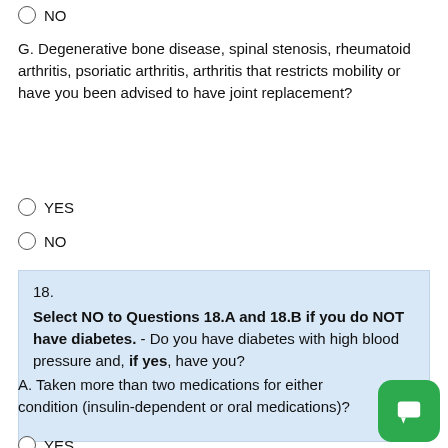NO
G. Degenerative bone disease, spinal stenosis, rheumatoid arthritis, psoriatic arthritis, arthritis that restricts mobility or have you been advised to have joint replacement?
YES
NO
18.
Select NO to Questions 18.A and 18.B if you do NOT have diabetes. - Do you have diabetes with high blood pressure and, if yes, have you?
A. Taken more than two medications for either condition (insulin-dependent or oral medications)?
YES